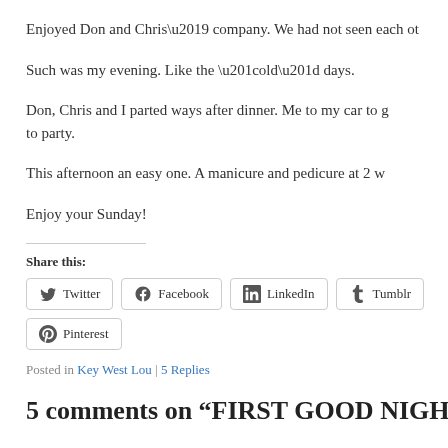Enjoyed Don and Chris’ company. We had not seen each ot…
Such was my evening. Like the “old” days.
Don, Chris and I parted ways after dinner. Me to my car to g… to party.
This afternoon an easy one. A manicure and pedicure at 2 w…
Enjoy your Sunday!
Share this:
Twitter  Facebook  LinkedIn  Tumblr  Pinterest
Posted in Key West Lou | 5 Replies
5 comments on “FIRST GOOD NIGHT O…